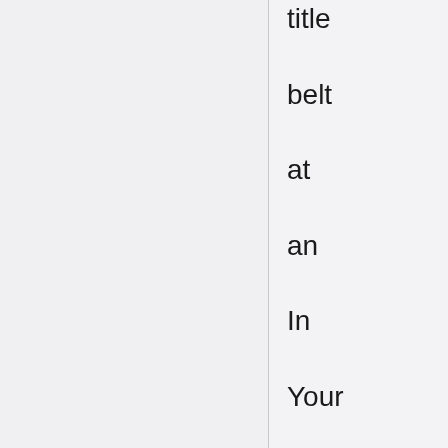title belt at an In Your House PPV in February 1997. But Austin made sure